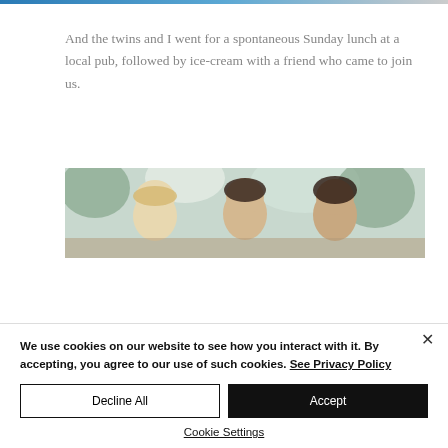And the twins and I went for a spontaneous Sunday lunch at a local pub, followed by ice-cream with a friend who came to join us.
[Figure (photo): Three children photographed outdoors from above, with soft natural light and green background]
We use cookies on our website to see how you interact with it. By accepting, you agree to our use of such cookies. See Privacy Policy
Decline All
Accept
Cookie Settings